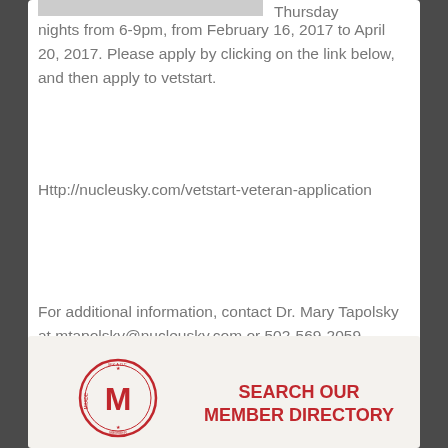[Figure (photo): Partial image visible at top left of card, appears to be a placeholder/banner image (gray rectangle)]
Thursday nights from 6-9pm, from February 16, 2017 to April 20, 2017. Please apply by clicking on the link below, and then apply to vetstart.
Http://nucleusky.com/vetstart-veteran-application
For additional information, contact Dr. Mary Tapolsky at mtapolsky@nucleusky.com or 502-569-2059.
[Figure (logo): Circular red stamp/badge logo with letter M in center and text around border (MKADC or similar organization)]
SEARCH OUR MEMBER DIRECTORY